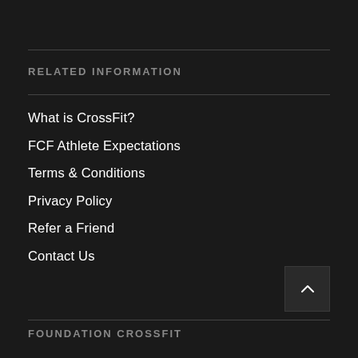RELATED INFORMATION
What is CrossFit?
FCF Athlete Expectations
Terms & Conditions
Privacy Policy
Refer a Friend
Contact Us
FOUNDATION CROSSFIT